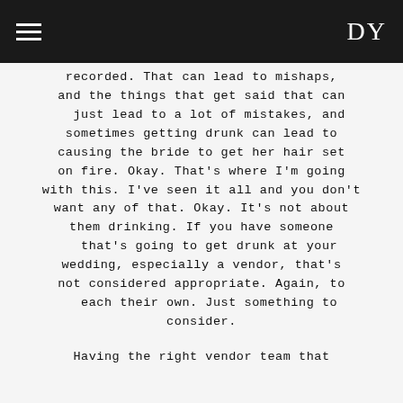DY
recorded. That can lead to mishaps, and the things that get said that can just lead to a lot of mistakes, and sometimes getting drunk can lead to causing the bride to get her hair set on fire. Okay. That's where I'm going with this. I've seen it all and you don't want any of that. Okay. It's not about them drinking. If you have someone that's going to get drunk at your wedding, especially a vendor, that's not considered appropriate. Again, to each their own. Just something to consider.
Having the right vendor team that